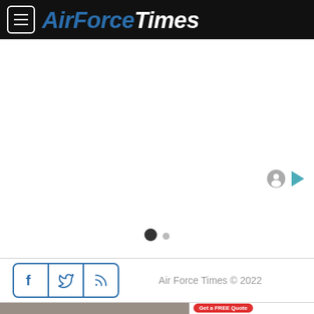AirForceTimes
[Figure (screenshot): Blank white content area with ad indicator icons (person icon and play button icon) in the top right, and a loading indicator with two dots (one large dark, one small grey) in the center]
Air Force Times © 2022
[Figure (photo): Partial view of a kitchen advertisement at the bottom of the page with a red 'Get a FREE Quote' button]